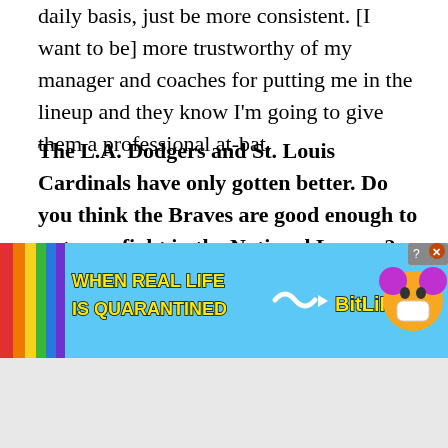daily basis, just be more consistent. [I want to be] more trustworthy of my manager and coaches for putting me in the lineup and they know I'm going to give them a professional at-bat.
The L.A. Dodgers and St. Louis Cardinals have only gotten better. Do you think the Braves are good enough to put up a fight in the National League?
Absolutely. I think adding the two arms (Charlie Morton, Drew Smyly) that we did are going to help us be even better. And, hopefully, we'll have
[Figure (screenshot): BitLife mobile game advertisement banner: rainbow colored bar on left side, text 'WHEN REAL LIFE IS QUARANTINED' in yellow outlined letters on blue sky background, arrow pointing to BitLife logo with cartoon star emoji character, close/help buttons in top right corner]